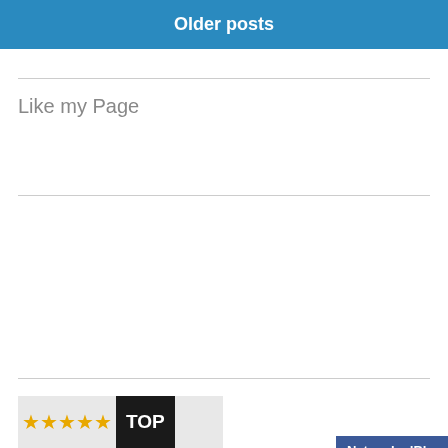Older posts
Like my Page
[Figure (other): NetworkedBlogs widget showing Blog: Jennifer Garcia – Author, Topics: Author Info, Book Info, Publishing Info, with Follow my blog link]
[Figure (other): Top banner with gold stars and 'TOP' text in dark box]